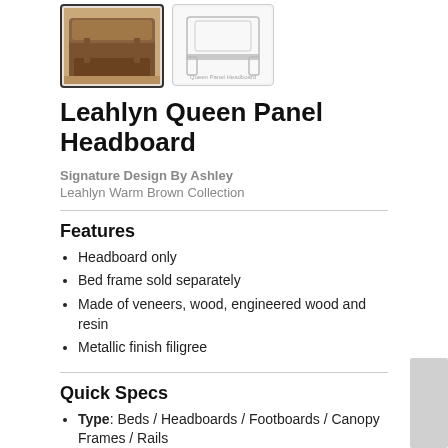[Figure (photo): Two thumbnail images: first shows a brown wicker/wooden bed in a room setting (selected, with dark border), second shows a white product line drawing of a headboard on white background.]
Leahlyn Queen Panel Headboard
Signature Design By Ashley
Leahlyn Warm Brown Collection
Features
Headboard only
Bed frame sold separately
Made of veneers, wood, engineered wood and resin
Metallic finish filigree
Quick Specs
Type: Beds / Headboards / Footboards / Canopy Frames / Rails
Width: 65"